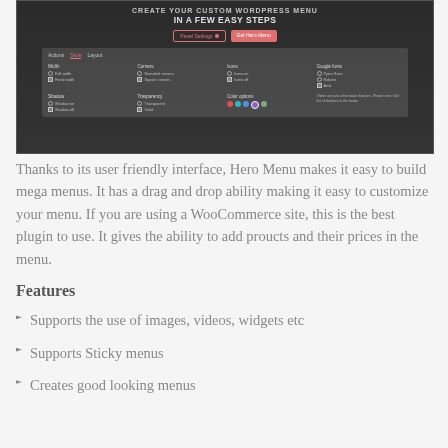[Figure (screenshot): Screenshot of a WordPress Hero Menu plugin interface showing 'Create your custom WordPress menu in a few easy steps' with panel settings including Width, Corners, Icons, Google fonts, Shadow, Transparency, Color options controls]
Thanks to its user friendly interface, Hero Menu makes it easy to build mega menus. It has a drag and drop ability making it easy to customize your menu. If you are using a WooCommerce site, this is the best plugin to use. It gives the ability to add proucts and their prices in the menu.
Features
Supports the use of images, videos, widgets etc
Supports Sticky menus
Creates good looking menus